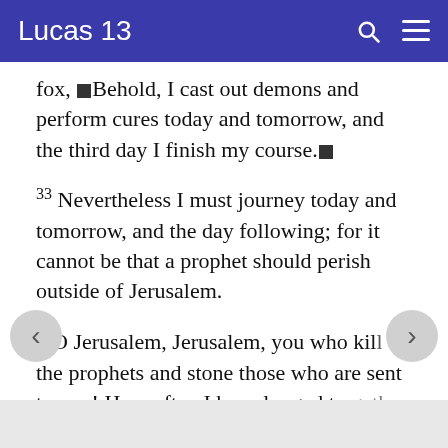Lucas 13
fox, [ref]Behold, I cast out demons and perform cures today and tomorrow, and the third day I finish my course.[ref]
33 Nevertheless I must journey today and tomorrow, and the day following; for it cannot be that a prophet should perish outside of Jerusalem.
34 O Jerusalem, Jerusalem, you who kill the prophets and stone those who are sent to you! How often I have longed to gather your children together, as a hen